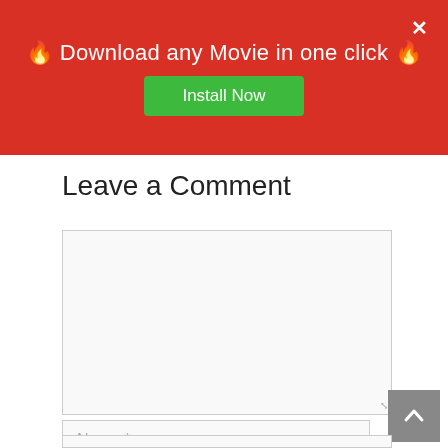[Figure (screenshot): Red banner advertisement with fire emojis saying 'Download any Movie in one click' with a green 'Install Now' button and a white X close button]
Leave a Comment
[Figure (screenshot): Empty comment textarea input box with resize handle]
Name *
[Figure (screenshot): Partial input field at the bottom of the page]